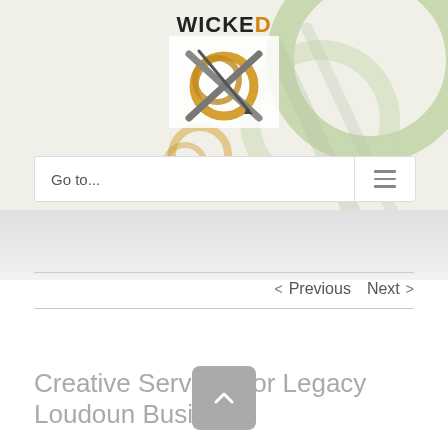[Figure (logo): Wicked Design logo with stylized X graphic and text WICKED DESIGN]
[Figure (screenshot): Navigation bar with Go to... text and hamburger menu icon]
< Previous  Next >
Creative Services for Legacy Loudoun Business